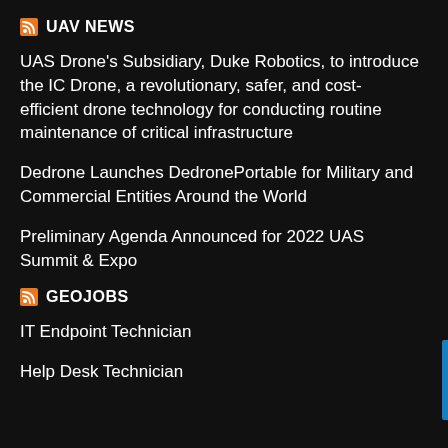UAV NEWS
UAS Drone's Subsidiary, Duke Robotics, to introduce the IC Drone, a revolutionary, safer, and cost-efficient drone technology for conducting routine maintenance of critical infrastructure
Dedrone Launches DedronePortable for Military and Commercial Entities Around the World
Preliminary Agenda Announced for 2022 UAS Summit & Expo
GEOJOBS
IT Endpoint Technician
Help Desk Technician